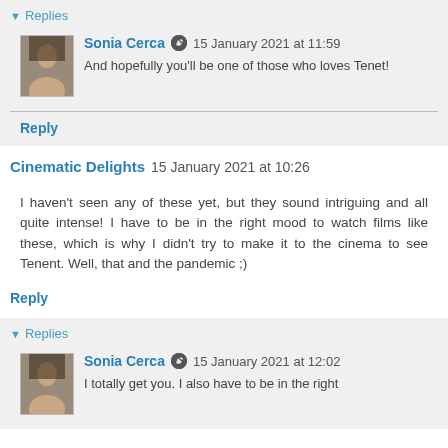▼ Replies
Sonia Cerca  15 January 2021 at 11:59
And hopefully you'll be one of those who loves Tenet!
Reply
Cinematic Delights  15 January 2021 at 10:26
I haven't seen any of these yet, but they sound intriguing and all quite intense! I have to be in the right mood to watch films like these, which is why I didn't try to make it to the cinema to see Tenent. Well, that and the pandemic ;)
Reply
▼ Replies
Sonia Cerca  15 January 2021 at 12:02
I totally get you. I also have to be in the right